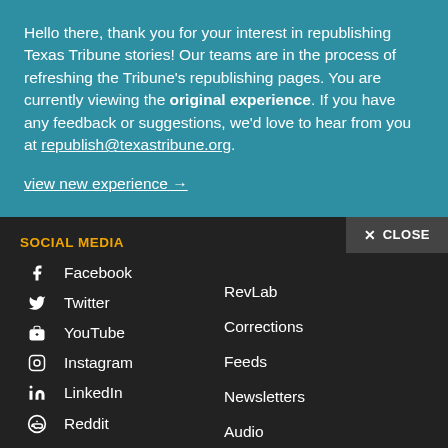Hello there, thank you for your interest in republishing Texas Tribune stories! Our teams are in the process of refreshing the Tribune's republishing pages. You are currently viewing the original experience. If you have any feedback or suggestions, we'd love to hear from you at republish@texastribune.org.
view new experience →
✕ CLOSE
SOCIAL MEDIA
Facebook
Twitter
YouTube
Instagram
LinkedIn
Reddit
RevLab
Corrections
Feeds
Newsletters
Audio
Video
Join our Facebook